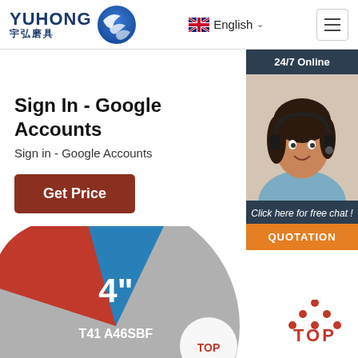[Figure (logo): Yuhong 宇弘磨具 logo with blue wave sphere icon]
English
Sign In - Google Accounts
Sign in - Google Accounts
Get Price
[Figure (infographic): 24/7 Online chat widget with a customer service agent photo, 'Click here for free chat!' text, and QUOTATION button]
[Figure (photo): Grinding disc labeled 4" T41 A46SBF with red and blue sections and TOP brand logo]